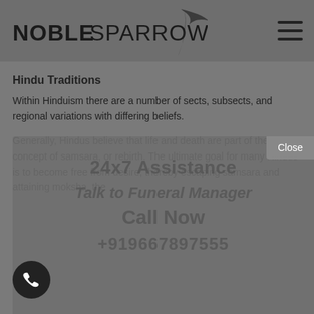[Figure (logo): Noble Sparrows logo with bird graphic and bold text NOBLESPARROWS]
Hindu Traditions
Within Hinduism there are a number of sects, subsects, and regional variations with differing beliefs.
Generally, Hindus believe that life and death are part of the concept of samsara, or rebirth. The ultimate goal for many Hindus is to become free from desire, thereby escaping samsara and attaining moksha, the
[Figure (infographic): Popup overlay with 24x7 Assistance text, Talk to Funeral Manager, Call Now, and phone number +919667897555]
[Figure (other): Phone call circular button at bottom left]